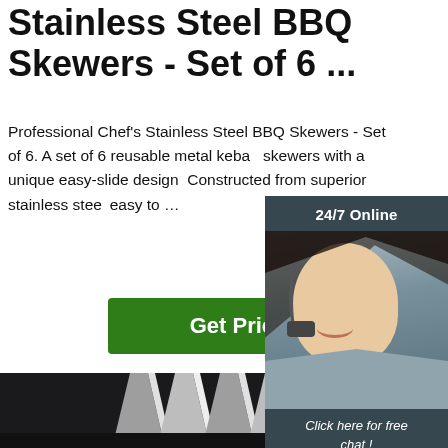Stainless Steel BBQ Skewers - Set of 6 ...
Professional Chef's Stainless Steel BBQ Skewers - Set of 6. A set of 6 reusable metal kebab skewers with a unique easy-slide design. Constructed from superior stainless steel easy to …
Get Price
[Figure (photo): Customer service agent woman with headset, 24/7 online chat widget with 'Click here for free chat!' and QUOTATION button]
[Figure (photo): Stainless steel flat BBQ skewers standing upright on dark background with TOP orange logo badge]